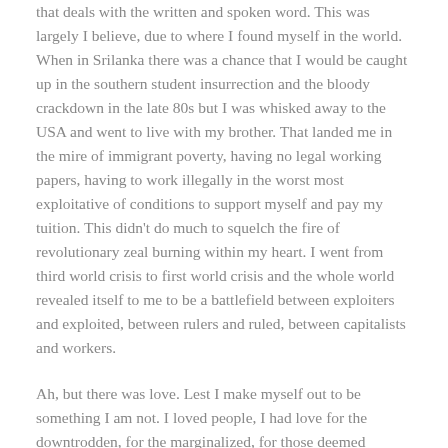that deals with the written and spoken word. This was largely I believe, due to where I found myself in the world. When in Srilanka there was a chance that I would be caught up in the southern student insurrection and the bloody crackdown in the late 80s but I was whisked away to the USA and went to live with my brother. That landed me in the mire of immigrant poverty, having no legal working papers, having to work illegally in the worst most exploitative of conditions to support myself and pay my tuition. This didn't do much to squelch the fire of revolutionary zeal burning within my heart. I went from third world crisis to first world crisis and the whole world revealed itself to me to be a battlefield between exploiters and exploited, between rulers and ruled, between capitalists and workers.
Ah, but there was love. Lest I make myself out to be something I am not. I loved people, I had love for the downtrodden, for the marginalized, for those deemed